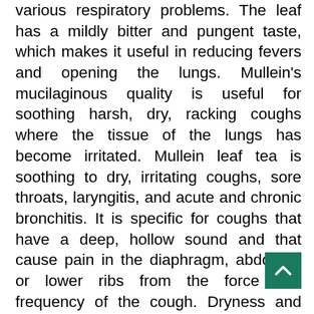various respiratory problems. The leaf has a mildly bitter and pungent taste, which makes it useful in reducing fevers and opening the lungs. Mullein's mucilaginous quality is useful for soothing harsh, dry, racking coughs where the tissue of the lungs has become irritated. Mullein leaf tea is soothing to dry, irritating coughs, sore throats, laryngitis, and acute and chronic bronchitis. It is specific for coughs that have a deep, hollow sound and that cause pain in the diaphragm, abdomen or lower ribs from the force and frequency of the cough. Dryness and harsh coughing wear down the tiny hairs called villi, which line the mucous membranes of the lungs. The villi of the lungs get worn down from other situations, such as smoking, overexposure to various air pollutants, wood dust and toxic fumes. Mullein leaf is an appropriate herb to add to a tea mix along with red clover, plantain, calendula blossoms and marshmallow leaf and root for healing damaged lung tissue. Mullein leaf, calendula and Echinacea root in combination help to reduce swollen glands.